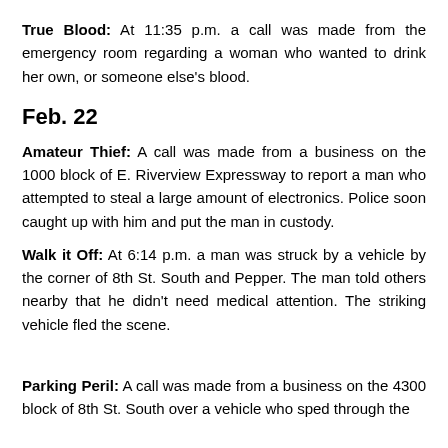True Blood: At 11:35 p.m. a call was made from the emergency room regarding a woman who wanted to drink her own, or someone else's blood.
Feb. 22
Amateur Thief: A call was made from a business on the 1000 block of E. Riverview Expressway to report a man who attempted to steal a large amount of electronics. Police soon caught up with him and put the man in custody.
Walk it Off: At 6:14 p.m. a man was struck by a vehicle by the corner of 8th St. South and Pepper. The man told others nearby that he didn't need medical attention. The striking vehicle fled the scene.
Parking Peril: A call was made from a business on the 4300 block of 8th St. South over a vehicle who sped through the